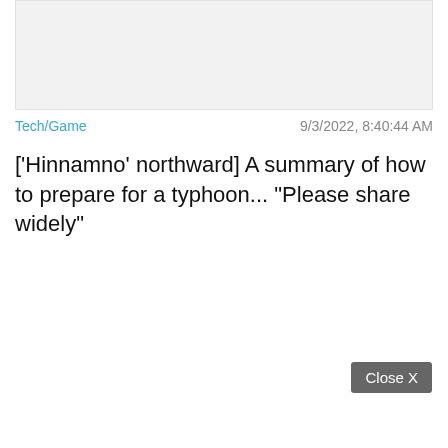[Figure (other): Gray placeholder image area at the top of the card]
Tech/Game
9/3/2022, 8:40:44 AM
['Hinnamno' northward] A summary of how to prepare for a typhoon... "Please share widely"
Close X